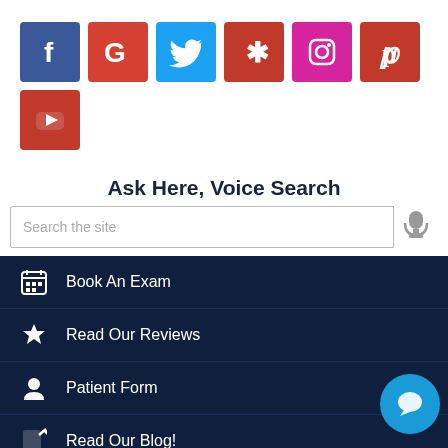[Figure (infographic): Social media icon grid: Facebook (blue), Google (red), Twitter (blue), Yelp (red), Instagram (pink/magenta), Pinterest (red), YouTube (red)]
Ask Here, Voice Search
[Figure (other): Search input bar with placeholder 'Search the site' and microphone icon]
Book An Exam
Read Our Reviews
Patient Form
Read Our Blog!